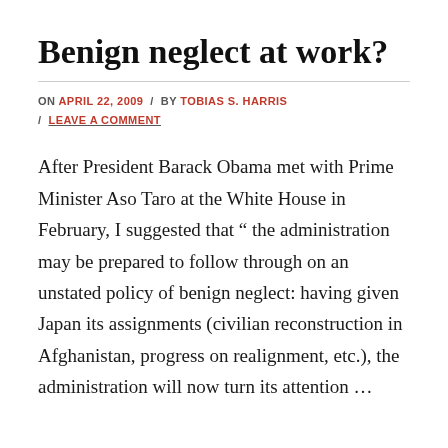Benign neglect at work?
ON APRIL 22, 2009 / BY TOBIAS S. HARRIS / LEAVE A COMMENT
After President Barack Obama met with Prime Minister Aso Taro at the White House in February, I suggested that " the administration may be prepared to follow through on an unstated policy of benign neglect: having given Japan its assignments (civilian reconstruction in Afghanistan, progress on realignment, etc.), the administration will now turn its attention …